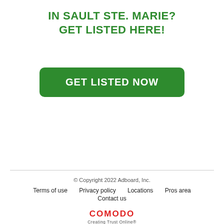IN SAULT STE. MARIE?
GET LISTED HERE!
[Figure (other): Green rounded rectangle button with white bold text reading 'GET LISTED NOW']
© Copyright 2022 Adboard, Inc.
Terms of use   Privacy policy   Locations   Pros area   Contact us
COMODO Creating Trust Online®